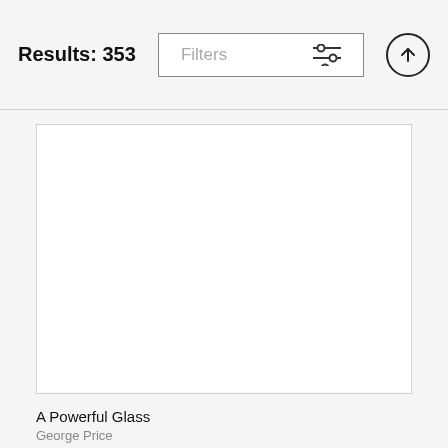Results: 353
Filters
[Figure (screenshot): White empty image card with border]
A Powerful Glass
George Price
$100